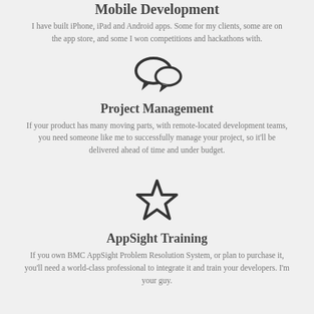Mobile Development
I have built iPhone, iPad and Android apps. Some for my clients, some are on the app store, and some I won competitions and hackathons with.
[Figure (illustration): Two speech bubble icons representing communication/project management]
Project Management
If your product has many moving parts, with remote-located development teams, you need someone like me to successfully manage your project, so it'll be delivered ahead of time and under budget.
[Figure (illustration): A star outline icon representing AppSight Training]
AppSight Training
If you own BMC AppSight Problem Resolution System, or plan to purchase it, you'll need a world-class professional to integrate it and train your developers. I'm your guy.